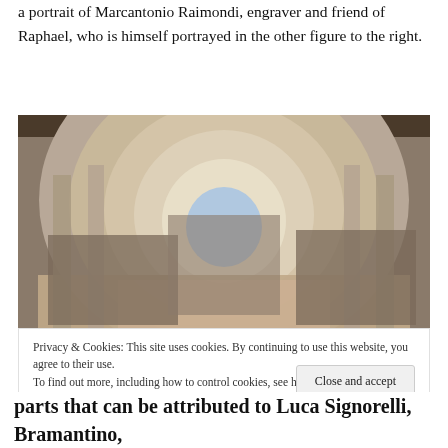a portrait of Marcantonio Raimondi, engraver and friend of Raphael, who is himself portrayed in the other figure to the right.
[Figure (photo): Raphael's School of Athens fresco showing philosophers and scholars in a grand arched architectural setting, with many figures arranged in groups across the foreground and middle ground.]
Privacy & Cookies: This site uses cookies. By continuing to use this website, you agree to their use.
To find out more, including how to control cookies, see here: Cookie Policy
parts that can be attributed to Luca Signorelli, Bramantino,